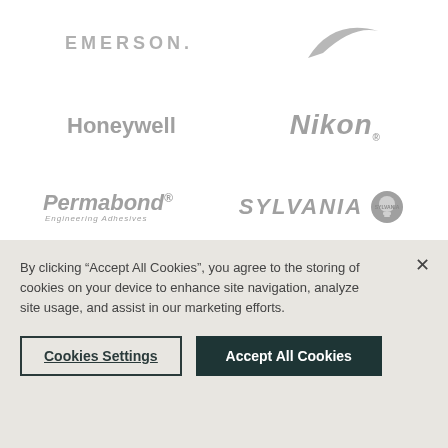[Figure (logo): EMERSON logo in gray uppercase letters with letter-spacing, and a gray swoosh/arc shape to the right]
[Figure (logo): Honeywell logo in gray bold sans-serif on left, Nikon italic bold logo in gray on right]
[Figure (logo): Permabond Engineering Adhesives italic logo in gray on left, SYLVANIA bold italic logo with circular icon in gray on right]
By clicking “Accept All Cookies”, you agree to the storing of cookies on your device to enhance site navigation, analyze site usage, and assist in our marketing efforts.
Cookies Settings
Accept All Cookies